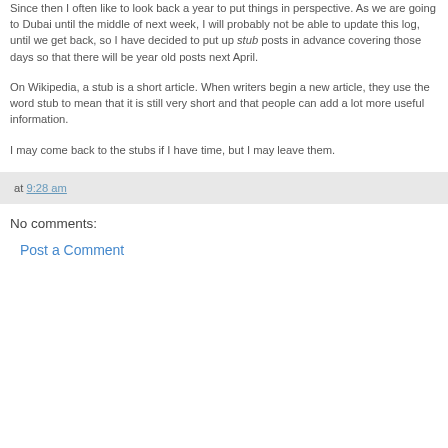Since then I often like to look back a year to put things in perspective. As we are going to Dubai until the middle of next week, I will probably not be able to update this log, until we get back, so I have decided to put up stub posts in advance covering those days so that there will be year old posts next April.
On Wikipedia, a stub is a short article. When writers begin a new article, they use the word stub to mean that it is still very short and that people can add a lot more useful information.
I may come back to the stubs if I have time, but I may leave them.
at 9:28 am
No comments:
Post a Comment